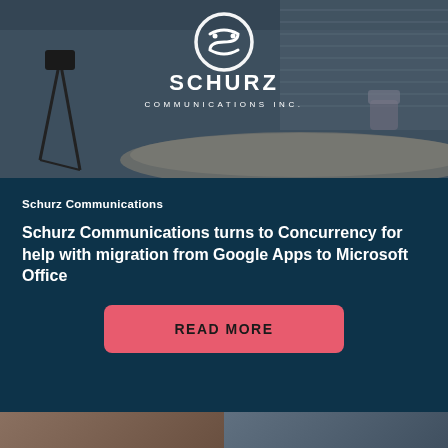[Figure (photo): TV broadcast studio with camera equipment on left, news desk in background, with Schurz Communications Inc. logo overlaid in white]
Schurz Communications
Schurz Communications turns to Concurrency for help with migration from Google Apps to Microsoft Office
READ MORE
[Figure (photo): Partial view of two images at bottom of page, cut off]